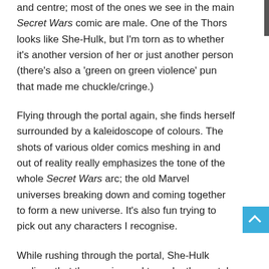and centre; most of the ones we see in the main Secret Wars comic are male. One of the Thors looks like She-Hulk, but I'm torn as to whether it's another version of her or just another person (there's also a 'green on green violence' pun that made me chuckle/cringe.)
Flying through the portal again, she finds herself surrounded by a kaleidoscope of colours. The shots of various older comics meshing in and out of reality really emphasizes the tone of the whole Secret Wars arc; the old Marvel universes breaking down and coming together to form a new universe. It's also fun trying to pick out any characters I recognise.
While rushing through the portal, She-Hulk realises that the magic used to make the portal is from Arcadia. There's a traitor in their mist! Once she lands safely on the other side she has just enough time to alert her team that she's being chased before the Thors follow her through. At the same time...